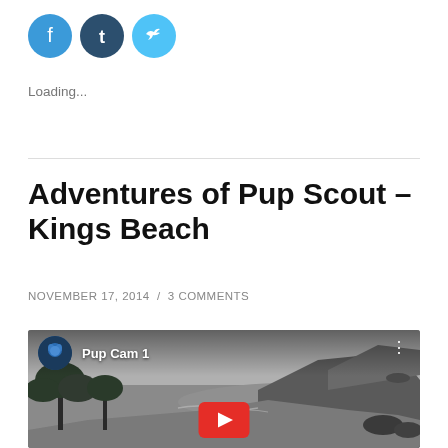[Figure (other): Social share icons: Facebook (blue circle), Tumblr (dark blue circle), Twitter (light blue circle)]
Loading...
Adventures of Pup Scout – Kings Beach
NOVEMBER 17, 2014  /  3 COMMENTS
[Figure (screenshot): YouTube video thumbnail showing 'Pup Cam 1' with a beach/coastal scene in greyscale, red YouTube play button in center, channel avatar in top-left corner, three-dot menu in top-right]